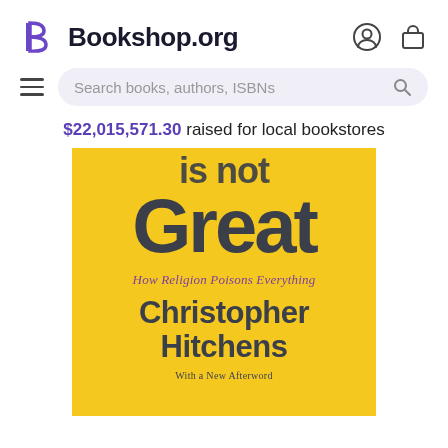Bookshop.org
Search books, authors, ISBNs
$22,015,571.30 raised for local bookstores
[Figure (photo): Book cover of 'God is not Great: How Religion Poisons Everything' by Christopher Hitchens, With a New Afterword. Yellow cover with large dark gray sans-serif text. The top shows partial text 'is not' cropped, then 'Great' in very large letters, subtitle in purple italic, then author name Christopher Hitchens, and 'With a New Afterword' at the bottom.]